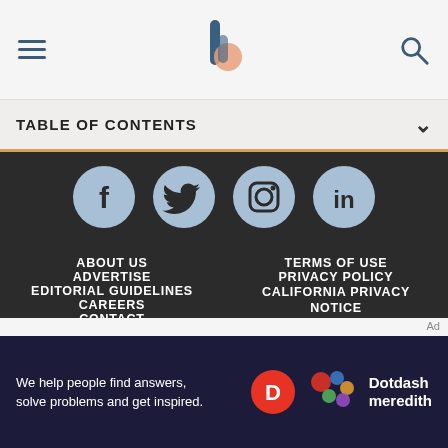TABLE OF CONTENTS
[Figure (other): Social media icons row: Facebook, Twitter, Instagram, LinkedIn]
ABOUT US
ADVERTISE
EDITORIAL GUIDELINES
CAREERS
CONTACT
COOKIE POLICY
TERMS OF USE
PRIVACY POLICY
CALIFORNIA PRIVACY NOTICE
DO NOT SELL MY PERSONAL INFORMATION
We help people find answers, solve problems and get inspired.
[Figure (logo): Dotdash Meredith logo]